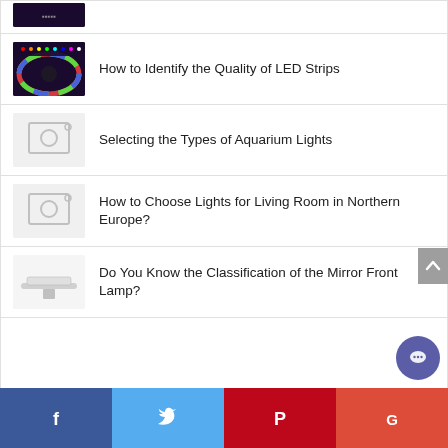[Figure (photo): Thumbnail of LED strip lights on dark background (top, partially cropped)]
How to Identify the Quality of LED Strips
[Figure (photo): Colorful LED strip coiled on purple background]
Selecting the Types of Aquarium Lights
[Figure (photo): Placeholder camera icon image]
How to Choose Lights for Living Room in Northern Europe?
[Figure (photo): Placeholder camera icon image]
Do You Know the Classification of the Mirror Front Lamp?
[Figure (photo): Mirror front lamp product photo]
Facebook | Twitter | Pinterest | Google+